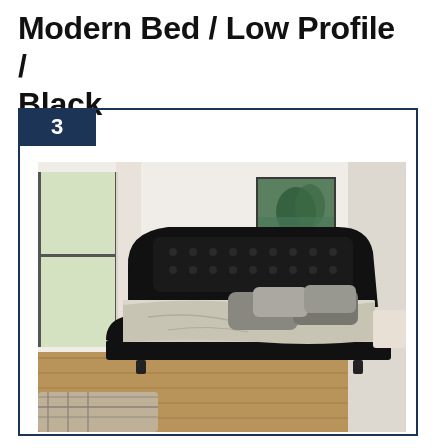Modern Bed / Low Profile / Black
[Figure (photo): Black tufted low profile platform bed with curved footboard in a modern bedroom setting with wood floors and white walls]
3